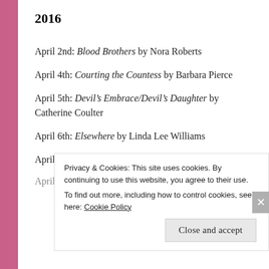2016
April 2nd: Blood Brothers by Nora Roberts
April 4th: Courting the Countess by Barbara Pierce
April 5th: Devil’s Embrace/Devil’s Daughter by Catherine Coulter
April 6th: Elsewhere by Linda Lee Williams
April 7th: Face the Fire by Nora Roberts
April 8th: Heart of Gold by J.D. Ward (partial, cut off)
Privacy & Cookies: This site uses cookies. By continuing to use this website, you agree to their use. To find out more, including how to control cookies, see here: Cookie Policy
Close and accept